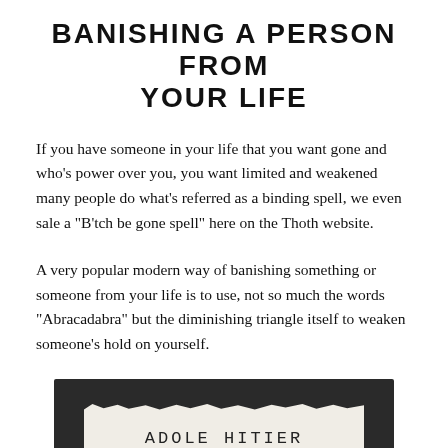BANISHING A PERSON FROM YOUR LIFE
If you have someone in your life that you want gone and who's power over you, you want limited and weakened many people do what's referred as a binding spell, we even sale a "B'tch be gone spell" here on the Thoth website.
A very popular modern way of banishing something or someone from your life is to use, not so much the words "Abracadabra" but the diminishing triangle itself to weaken someone's hold on yourself.
[Figure (photo): A torn piece of white paper on a dark background with handwritten text reading 'ADOLE HITLER']